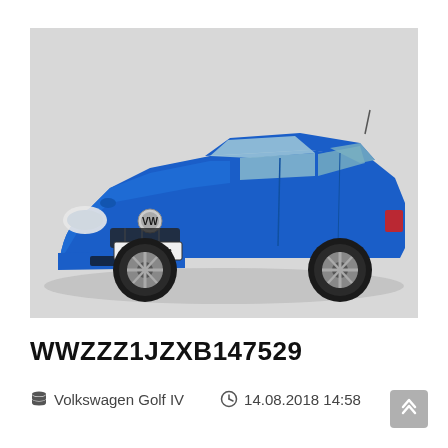[Figure (photo): A blue Volkswagen Golf IV hatchback photographed from a front-three-quarter angle on a light grey background. The car has a German license plate reading 'WOB VA 238'.]
WWZZZ1JZXB147529
Volkswagen Golf IV   14.08.2018 14:58